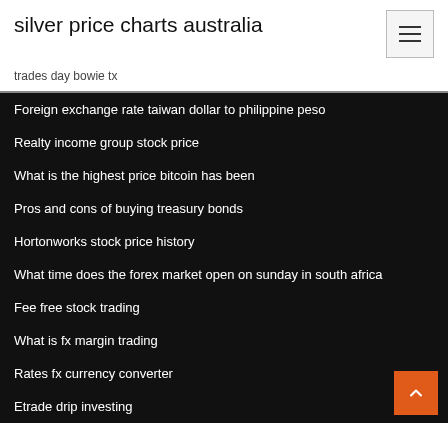silver price charts australia
trades day bowie tx
Foreign exchange rate taiwan dollar to philippine peso
Realty income group stock price
What is the highest price bitcoin has been
Pros and cons of buying treasury bonds
Hortonworks stock price history
What time does the forex market open on sunday in south africa
Fee free stock trading
What is fx margin trading
Rates fx currency converter
Etrade drip investing